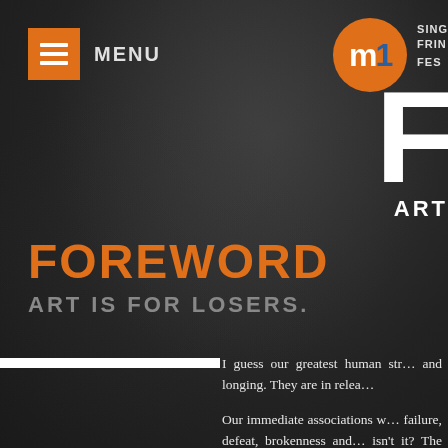MENU
[Figure (logo): m1 Singapore Fringe Festival logo — orange circle with white 'm' and blue '1', plus festival text and large white 'F' letter with 'ART' label]
FOREWORD
ART IS FOR LOSERS.
I guess our greatest human str... and longing. They are in relea...
Our immediate associations w... failure, defeat, brokenness and... isn't it? The way it writes so... while we all lose stuff, isn't it...